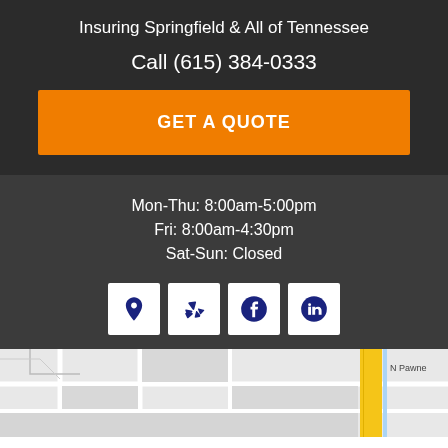Insuring Springfield & All of Tennessee
Call (615) 384-0333
GET A QUOTE
Mon-Thu: 8:00am-5:00pm
Fri: 8:00am-4:30pm
Sat-Sun: Closed
[Figure (other): Row of four social media icon buttons: location pin, Yelp, Facebook, LinkedIn]
[Figure (map): Google Maps street map snippet showing Springfield, TN area with N Pawne street label and a yellow road]